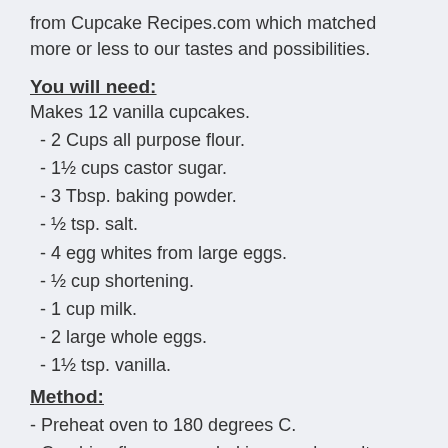from Cupcake Recipes.com which matched more or less to our tastes and possibilities.
You will need:
Makes 12 vanilla cupcakes.
- 2 Cups all purpose flour.
- 1½ cups castor sugar.
- 3 Tbsp. baking powder.
- ½ tsp. salt.
- 4 egg whites from large eggs.
- ½ cup shortening.
- 1 cup milk.
- 2 large whole eggs.
- 1½ tsp. vanilla.
Method:
- Preheat oven to 180 degrees C.
- Combine flour, sugar, baking powder, salt, shortening, milk and vanilla in a large mixing bowl. Mix at low speed for 2 minutes. Scrape bowl. Add egg whites and whole eggs and